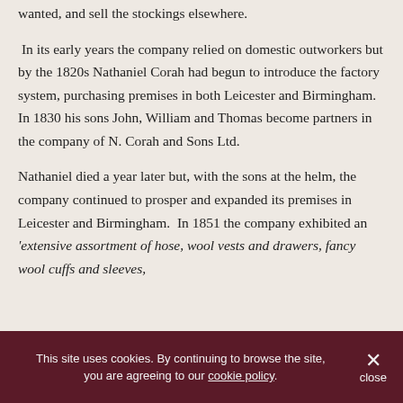wanted, and sell the stockings elsewhere.
In its early years the company relied on domestic outworkers but by the 1820s Nathaniel Corah had begun to introduce the factory system, purchasing premises in both Leicester and Birmingham.  In 1830 his sons John, William and Thomas become partners in the company of N. Corah and Sons Ltd.
Nathaniel died a year later but, with the sons at the helm, the company continued to prosper and expanded its premises in Leicester and Birmingham.  In 1851 the company exhibited an 'extensive assortment of hose, wool vests and drawers, fancy wool cuffs and sleeves,
This site uses cookies. By continuing to browse the site, you are agreeing to our cookie policy.